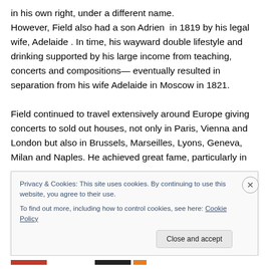in his own right, under a different name. However, Field also had a son Adrien in 1819 by his legal wife, Adelaide . In time, his wayward double lifestyle and drinking supported by his large income from teaching, concerts and compositions— eventually resulted in separation from his wife Adelaide in Moscow in 1821.

Field continued to travel extensively around Europe giving concerts to sold out houses, not only in Paris, Vienna and London but also in Brussels, Marseilles, Lyons, Geneva, Milan and Naples. He achieved great fame, particularly in
Privacy & Cookies: This site uses cookies. By continuing to use this website, you agree to their use.
To find out more, including how to control cookies, see here: Cookie Policy
Close and accept